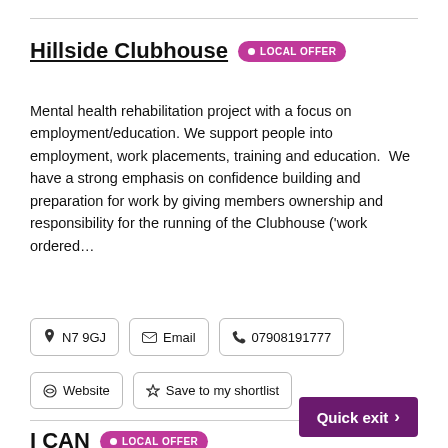Hillside Clubhouse • LOCAL OFFER
Mental health rehabilitation project with a focus on employment/education. We support people into employment, work placements, training and education.  We have a strong emphasis on confidence building and preparation for work by giving members ownership and responsibility for the running of the Clubhouse ('work ordered…
📍 N7 9GJ   ✉ Email   📞 07908191777
🔗 Website   ☆ Save to my shortlist
Quick exit >
I CAN • LOCAL OFFER